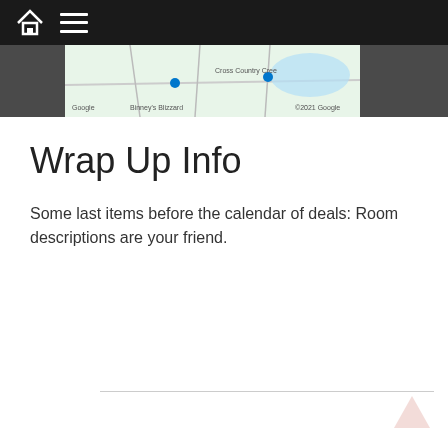[Figure (screenshot): Website navigation bar with dark background, home icon and hamburger menu icon, with a Google Maps strip below showing a partial map view with location pins labeled 'Cross Country Cree' and 'Binney's Blizzard' and Google branding]
Wrap Up Info
Some last items before the calendar of deals: Room descriptions are your friend.